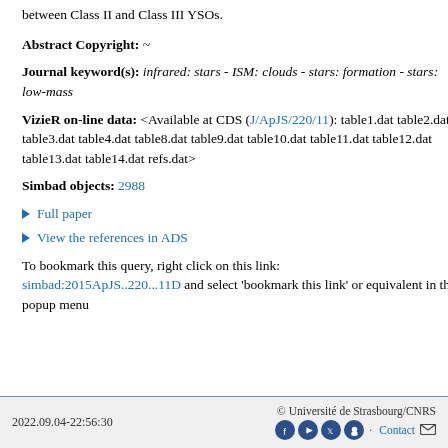between Class II and Class III YSOs.
Abstract Copyright: ~
Journal keyword(s): infrared: stars - ISM: clouds - stars: formation - stars: low-mass
VizieR on-line data: <Available at CDS (J/ApJS/220/11): table1.dat table2.dat table3.dat table4.dat table8.dat table9.dat table10.dat table11.dat table12.dat table13.dat table14.dat refs.dat>
Simbad objects: 2988
Full paper
View the references in ADS
To bookmark this query, right click on this link: simbad:2015ApJS..220...11D and select 'bookmark this link' or equivalent in the popup menu
2022.09.04-22:56:30   © Université de Strasbourg/CNRS   Contact